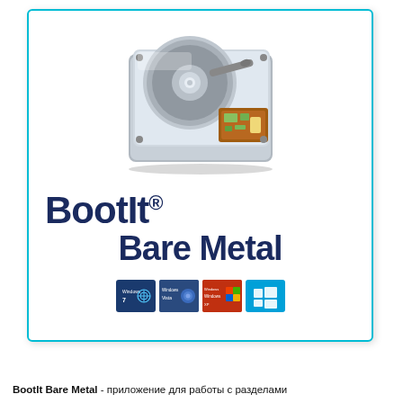[Figure (illustration): BootIt Bare Metal software cover page showing a hard disk drive image at top, the product name 'BootIt® Bare Metal' in large dark blue bold text, Windows OS version badges (Windows 7, Vista, XP, 8), all within a cyan-bordered box]
BootIt Bare Metal - приложение для работы с разделами